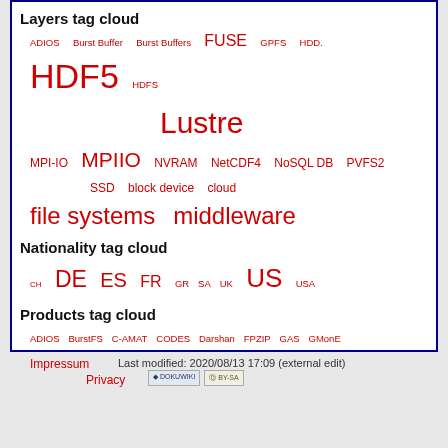Layers tag cloud
ADIOS Burst Buffer Burst Buffers FUSE GPFS HDD. HDF5 HDFS Lustre MPI-IO MPIIO NVRAM NetCDF4 NoSQL DB PVFS2 SSD block device cloud file systems middleware
Nationality tag cloud
CH DE ES FR GR SA UK US USA
Products tag cloud
ADIOS BurstFS C-AMAT CODES Darshan FPZIP GAS GMonE HDTrace IOSIG Lustre Mochi ORCHECK OrangeFS (formerly PVFS) PFS-IOC PIOsim PIOviz PNetCDF PVFS2 scil
Impressum   Last modified: 2020/08/13 17:09 (external edit)   Privacy
[Figure (logo): DokuWiki and CC BY-SA badges]